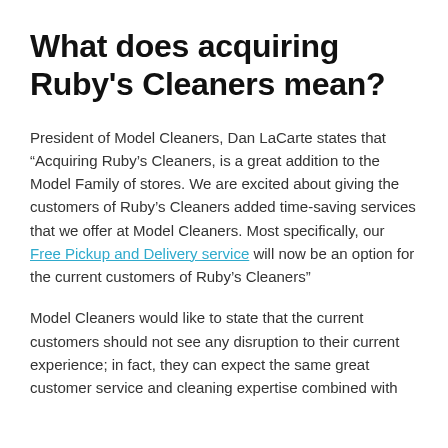What does acquiring Ruby's Cleaners mean?
President of Model Cleaners, Dan LaCarte states that “Acquiring Ruby's Cleaners, is a great addition to the Model Family of stores. We are excited about giving the customers of Ruby's Cleaners added time-saving services that we offer at Model Cleaners. Most specifically, our Free Pickup and Delivery service will now be an option for the current customers of Ruby's Cleaners”
Model Cleaners would like to state that the current customers should not see any disruption to their current experience; in fact, they can expect the same great customer service and cleaning expertise combined with